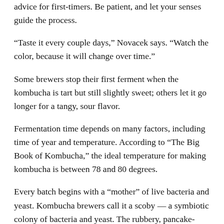advice for first-timers. Be patient, and let your senses guide the process.
“Taste it every couple days,” Novacek says. “Watch the color, because it will change over time.”
Some brewers stop their first ferment when the kombucha is tart but still slightly sweet; others let it go longer for a tangy, sour flavor.
Fermentation time depends on many factors, including time of year and temperature. According to “The Big Book of Kombucha,” the ideal temperature for making kombucha is between 78 and 80 degrees.
Every batch begins with a “mother” of live bacteria and yeast. Kombucha brewers call it a scoby — a symbiotic colony of bacteria and yeast. The rubbery, pancake-sized disk adds new layers over time and can be